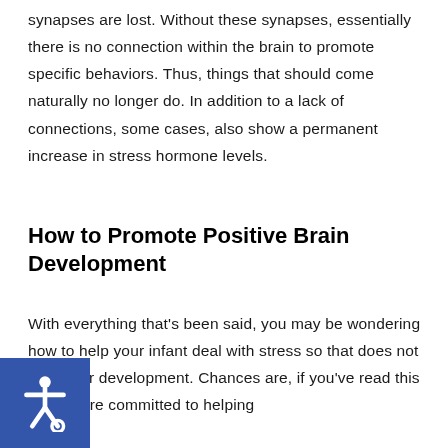synapses are lost. Without these synapses, essentially there is no connection within the brain to promote specific behaviors. Thus, things that should come naturally no longer do. In addition to a lack of connections, some cases, also show a permanent increase in stress hormone levels.
How to Promote Positive Brain Development
With everything that’s been said, you may be wondering how to help your infant deal with stress so that does not alter their development. Chances are, if you’ve read this far you are committed to helping